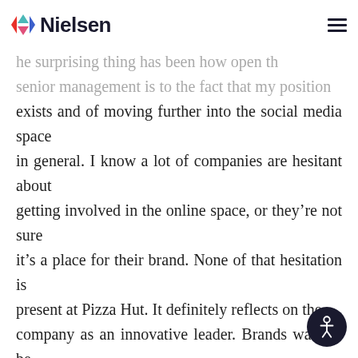Nielsen
the amount of awareness about Pizza Hut on Twitter. The surprising thing has been how open the senior management is to the fact that my position exists and of moving further into the social media space in general. I know a lot of companies are hesitant about getting involved in the online space, or they're not sure it's a place for their brand. None of that hesitation is present at Pizza Hut. It definitely reflects on the company as an innovative leader. Brands want to be where their consumers are, and where those consumers are having a conversation. You definitely want to be a part of that so you can contribute more. If your consumers are all on Twitter, why wouldn't you join in? That's Pizza Hut's philosophy. Obviously there are risks to getting involved, but I think they're necessary risks if you want to get involved and converse with your consumers."